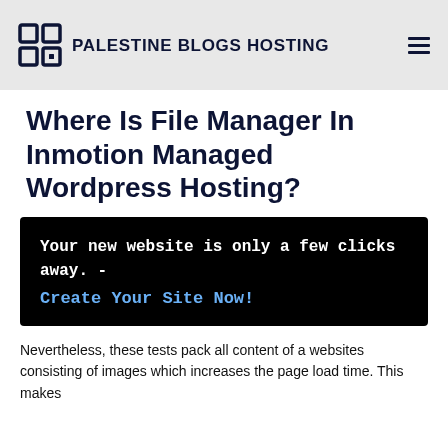PALESTINE BLOGS HOSTING
Where Is File Manager In Inmotion Managed Wordpress Hosting?
Your new website is only a few clicks away. - Create Your Site Now!
Nevertheless, these tests pack all content of a websites consisting of images which increases the page load time. This makes